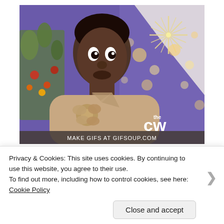[Figure (photo): A person with a wide-eyed surprised expression wearing a sleeveless beige top with a flower accessory, against a bokeh purple background with string lights and starburst decoration. The CW network logo is visible in the lower right. A watermark reads 'MAKE GIFS AT GIFSOUP.COM'.]
Dun dun duuuuuuuuuuuuun
Privacy & Cookies: This site uses cookies. By continuing to use this website, you agree to their use.
To find out more, including how to control cookies, see here: Cookie Policy
Close and accept